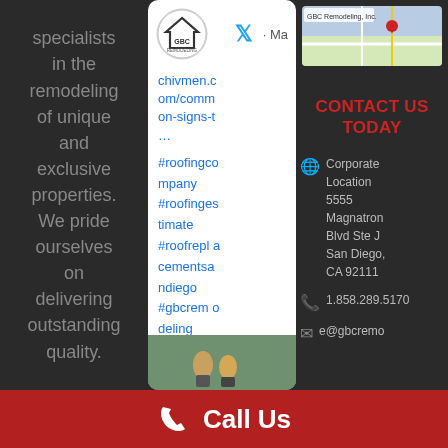specialists in the remodeling of unique and exclusive properties. We pride ourselves on delivering outstanding quality.
[Figure (screenshot): GBC Remodeling social media card showing logo, link to chivmen.com/common-signs-t..., hashtags #roofingcompany #roofingestimate #roofreplacementsandiego #gbcremodeling, and a photo of workers]
[Figure (screenshot): Google Maps thumbnail showing GBC Remodeling location in San Diego]
CONTACT US TODAY
Corporate Location 5555 Magnatron Blvd Ste J San Diego, CA 92111
1.858.289.5170
e@gbcremo
Call Us